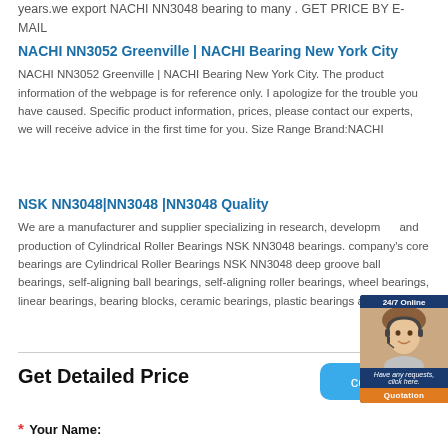years.we export NACHI NN3048 bearing to many . GET PRICE BY E-MAIL
NACHI NN3052 Greenville | NACHI Bearing New York City
NACHI NN3052 Greenville | NACHI Bearing New York City. The product information of the webpage is for reference only. I apologize for the trouble you have caused. Specific product information, prices, please contact our experts, we will receive advice in the first time for you. Size Range Brand:NACHI
NSK NN3048|NN3048 |NN3048 Quality
We are a manufacturer and supplier specializing in research, development and production of Cylindrical Roller Bearings NSK NN3048 bearings. company's core bearings are Cylindrical Roller Bearings NSK NN3048 deep groove ball bearings, self-aligning ball bearings, self-aligning roller bearings, wheel bearings, linear bearings, bearing blocks, ceramic bearings, plastic bearings and other ...
[Figure (illustration): Chat widget showing a customer service representative with headset, '24/7 Online' text, 'Have any requests, click here.' message, and 'Quotation' button]
Get Detailed Price
* Your Name: